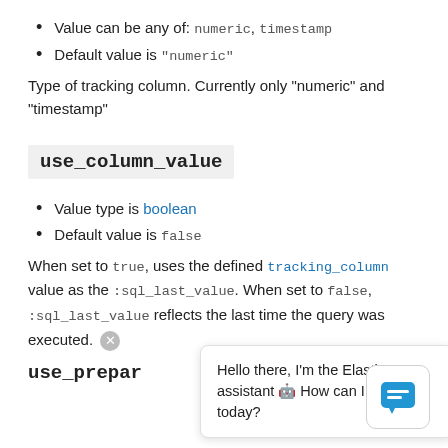Value can be any of: numeric, timestamp
Default value is "numeric"
Type of tracking column. Currently only "numeric" and "timestamp"
use_column_value
Value type is boolean
Default value is false
When set to true, uses the defined tracking_column value as the :sql_last_value. When set to false, :sql_last_value reflects the last time the query was executed.
use_prepar
[Figure (other): Chat bubble overlay: Hello there, I'm the Elastic assistant 🤖 How can I help you today? with a close button and chat icon]